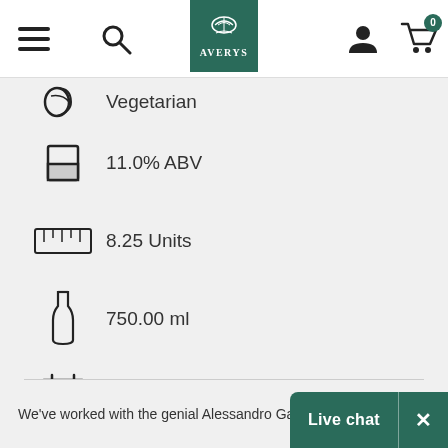Averys - navigation bar with menu, search, logo, account, cart (0)
Vegetarian
11.0% ABV
8.25 Units
750.00 ml
31 December, 2026
Vegan
We've worked with the genial Alessandro Gallici